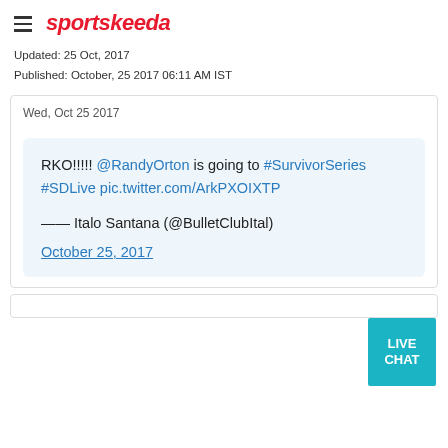sportskeeda
Updated: 25 Oct, 2017
Published: October, 25 2017 06:11 AM IST
Wed, Oct 25 2017
RKO!!!!! @RandyOrton is going to #SurvivorSeries #SDLive pic.twitter.com/ArkPXOIXTP
— Italo Santana (@BulletClubItal)
October 25, 2017